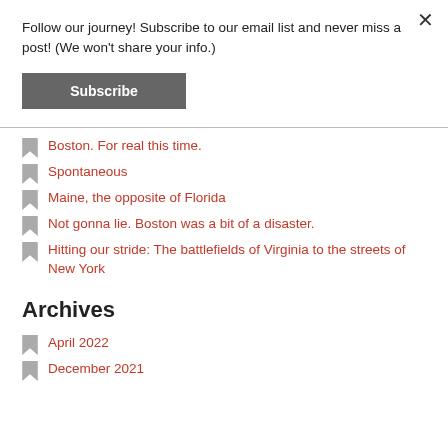Follow our journey! Subscribe to our email list and never miss a post! (We won't share your info.)
Subscribe
Boston. For real this time.
Spontaneous
Maine, the opposite of Florida
Not gonna lie. Boston was a bit of a disaster.
Hitting our stride: The battlefields of Virginia to the streets of New York
Archives
April 2022
December 2021